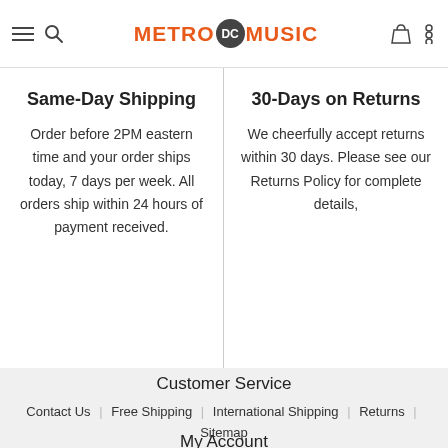Metro DC Music
Same-Day Shipping
Order before 2PM eastern time and your order ships today, 7 days per week. All orders ship within 24 hours of payment received.
30-Days on Returns
We cheerfully accept returns within 30 days. Please see our Returns Policy for complete details,
Customer Service
Contact Us | Free Shipping | International Shipping | Returns | Sitemap
My Account
Login/Account | Wishlist | Order History | Privacy & Security